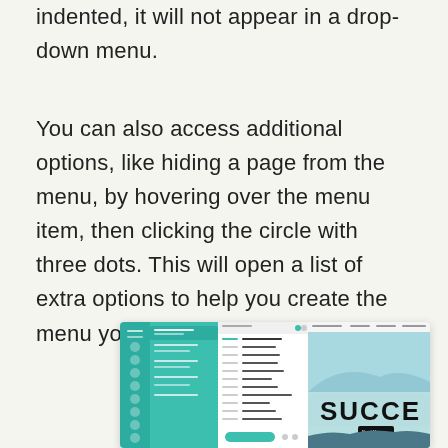indented, it will not appear in a drop-down menu.
You can also access additional options, like hiding a page from the menu, by hovering over the menu item, then clicking the circle with three dots. This will open a list of extra options to help you create the menu you want.
[Figure (screenshot): Screenshot of a website editor interface showing a navigation menu panel with teal/green sidebar and page list options, alongside a website preview showing 'SUCCE' text and a landscape background image.]